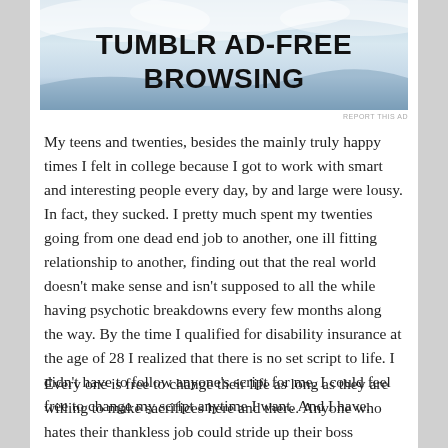[Figure (screenshot): Tumblr Ad-Free Browsing advertisement banner with blue wave/sky background and bold black text reading 'TUMBLR AD-FREE BROWSING']
REPORT THIS AD
My teens and twenties, besides the mainly truly happy times I felt in college because I got to work with smart and interesting people every day, by and large were lousy.  In fact, they sucked.  I pretty much spent my twenties going from one dead end job to another, one ill fitting relationship to another, finding out that the real world doesn't make sense and isn't supposed to all the while having psychotic breakdowns every few months along the way.  By the time I qualified for disability insurance at the age of 28 I realized that there is no set script to life.  I didn't have to follow anyone's script for me.  I could feel free to change my script anytime I want.  And I have.
Every one is free to change their life as long as they are willing to make sacrifices here and there.  Anyone who hates their thankless job could stride up their boss tomorrow, quit